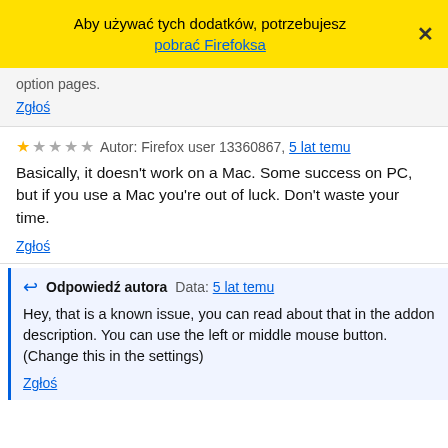Aby używać tych dodatków, potrzebujesz pobrać Firefoksa
option pages.
Zgłoś
★☆☆☆☆ Autor: Firefox user 13360867, 5 lat temu
Basically, it doesn't work on a Mac. Some success on PC, but if you use a Mac you're out of luck. Don't waste your time.
Zgłoś
↩ Odpowiedź autora Data: 5 lat temu
Hey, that is a known issue, you can read about that in the addon description. You can use the left or middle mouse button. (Change this in the settings)
Zgłoś